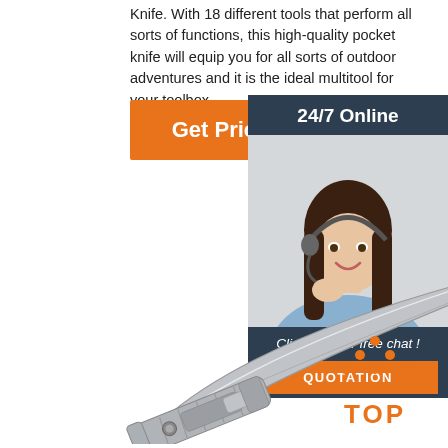Knife. With 18 different tools that perform all sorts of functions, this high-quality pocket knife will equip you for all sorts of outdoor adventures and it is the ideal multitool for your toolbox.
[Figure (other): Orange 'Get Price' button]
[Figure (other): 24/7 Online chat widget with customer service agent photo, 'Click here for free chat!' text, and orange QUOTATION button]
[Figure (photo): Pocket knife / multitool shown open with blade extended, metallic finish]
[Figure (illustration): Orange 'TOP' icon with dots arranged in triangle above the text]